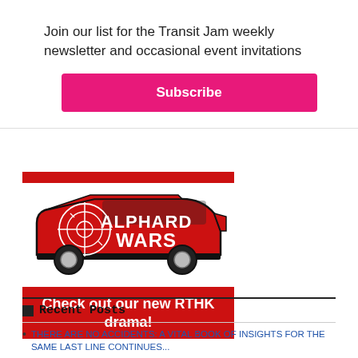Join our list for the Transit Jam weekly newsletter and occasional event invitations
Subscribe
[Figure (illustration): Red minivan (Toyota Alphard) with crosshair/target graphic and white text 'ALPHARD WARS' on the side, with a red bar at top and a red caption box below reading 'Check out our new RTHK drama!']
Check out our new RTHK drama!
Recent Posts
THERE ARE NO ACCIDENTS: A VITAL BOOK OF INSIGHTS FOR THE...